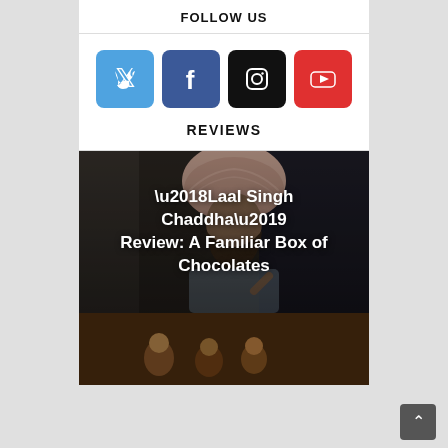FOLLOW US
[Figure (infographic): Four social media icon buttons: Twitter (blue), Facebook (dark blue), Instagram (black), YouTube (red)]
REVIEWS
[Figure (photo): Movie still from 'Laal Singh Chaddha' showing a man in a turban, overlaid with the title text]
‘Laal Singh Chaddha’ Review: A Familiar Box of Chocolates
[Figure (photo): Second movie still, partially visible at bottom of page]